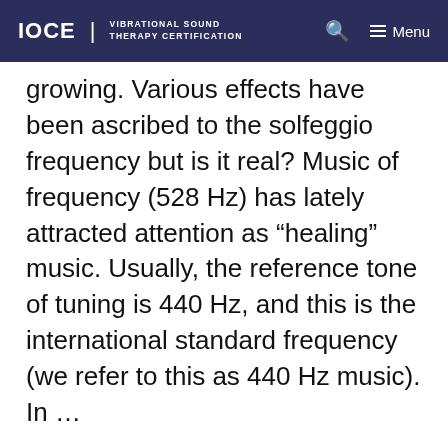IOCE | VIBRATIONAL SOUND THERAPY CERTIFICATION
growing. Various effects have been ascribed to the solfeggio frequency but is it real? Music of frequency (528 Hz) has lately attracted attention as “healing” music. Usually, the reference tone of tuning is 440 Hz, and this is the international standard frequency (we refer to this as 440 Hz music). In …
Read more